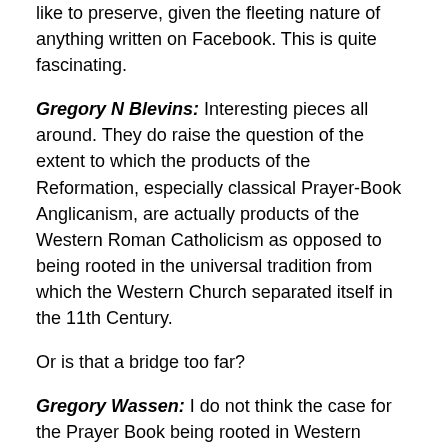like to preserve, given the fleeting nature of anything written on Facebook. This is quite fascinating.
Gregory N Blevins: Interesting pieces all around. They do raise the question of the extent to which the products of the Reformation, especially classical Prayer-Book Anglicanism, are actually products of the Western Roman Catholicism as opposed to being rooted in the universal tradition from which the Western Church separated itself in the 11th Century.
Or is that a bridge too far?
Gregory Wassen: I do not think the case for the Prayer Book being rooted in Western Roman Catholicism is a strong one. A case could be made insofar as Cranmer smashed up the Old Liturgy and used the pieces to create his own liturgy. So the the building blocks of the BCP are